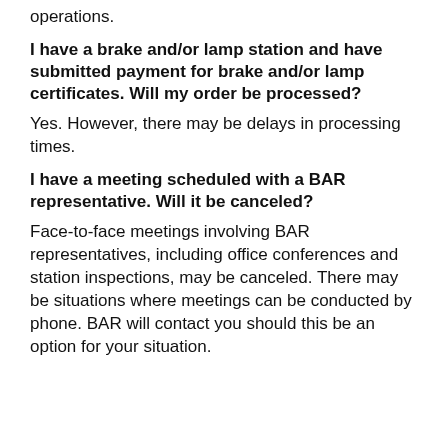operations.
I have a brake and/or lamp station and have submitted payment for brake and/or lamp certificates. Will my order be processed?
Yes. However, there may be delays in processing times.
I have a meeting scheduled with a BAR representative. Will it be canceled?
Face-to-face meetings involving BAR representatives, including office conferences and station inspections, may be canceled. There may be situations where meetings can be conducted by phone. BAR will contact you should this be an option for your situation.